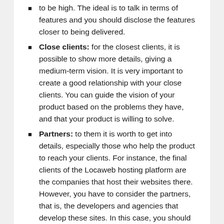to be high. The ideal is to talk in terms of features and you should disclose the features closer to being delivered.
Close clients: for the closest clients, it is possible to show more details, giving a medium-term vision. It is very important to create a good relationship with your close clients. You can guide the vision of your product based on the problems they have, and that your product is willing to solve.
Partners: to them it is worth to get into details, especially those who help the product to reach your clients. For instance, the final clients of the Locaweb hosting platform are the companies that host their websites there. However, you have to consider the partners, that is, the developers and agencies that develop these sites. In this case, you should continue to depict the roadmap as a list of features.
CEOs, vice-presidents and directors: at this point, we move to internal audience. This target group might be interested in the feature list, but they really want to know the motivation for these functionalities on the roadmap.